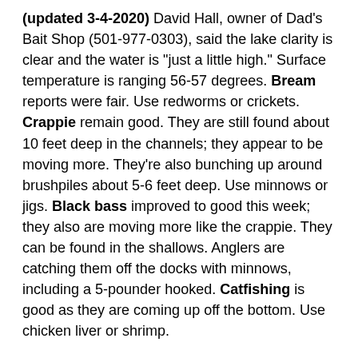(updated 3-4-2020) David Hall, owner of Dad's Bait Shop (501-977-0303), said the lake clarity is clear and the water is "just a little high." Surface temperature is ranging 56-57 degrees. Bream reports were fair. Use redworms or crickets. Crappie remain good. They are still found about 10 feet deep in the channels; they appear to be moving more. They're also bunching up around brushpiles about 5-6 feet deep. Use minnows or jigs. Black bass improved to good this week; they also are moving more like the crappie. They can be found in the shallows. Anglers are catching them off the docks with minnows, including a 5-pounder hooked. Catfishing is good as they are coming up off the bottom. Use chicken liver or shrimp.
Lake Maumelle
(updated 3-4-2020) Westrock Landing (501-658-5598) said...